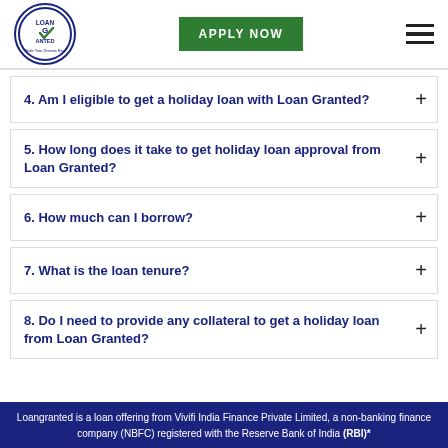[Figure (logo): Loan Granted circular logo with checkmark and text 'Make Your Dreams Real']
APPLY NOW
4. Am I eligible to get a holiday loan with Loan Granted?
5. How long does it take to get holiday loan approval from Loan Granted?
6. How much can I borrow?
7. What is the loan tenure?
8. Do I need to provide any collateral to get a holiday loan from Loan Granted?
Loangranted is a loan offering from Vivifi India Finance Private Limited, a non-banking finance company (NBFC) registered with the Reserve Bank of India (RBI)*